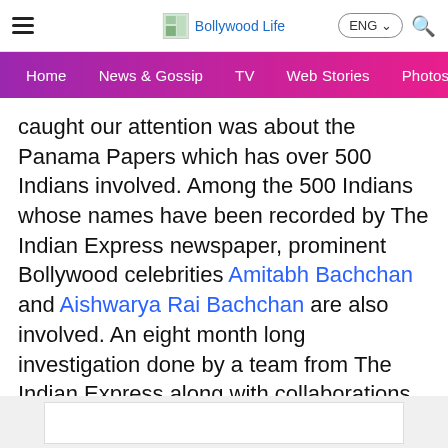Bollywood Life
Home | News & Gossip | TV | Web Stories | Photos | Video
caught our attention was about the Panama Papers which has over 500 Indians involved. Among the 500 Indians whose names have been recorded by The Indian Express newspaper, prominent Bollywood celebrities Amitabh Bachchan and Aishwarya Rai Bachchan are also involved. An eight month long investigation done by a team from The Indian Express along with collaborations from various other media overseas, this news has